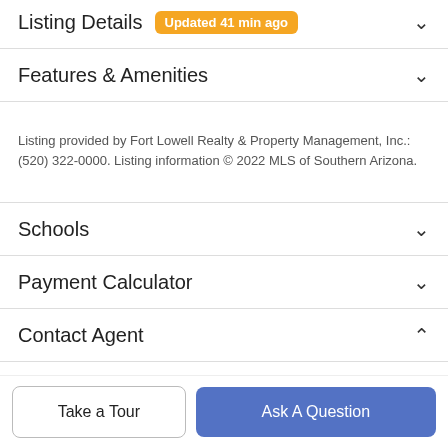Listing Details  Updated 41 min ago
Features & Amenities
Listing provided by Fort Lowell Realty & Property Management, Inc.: (520) 322-0000. Listing information © 2022 MLS of Southern Arizona.
Schools
Payment Calculator
Contact Agent
[Figure (photo): Circular profile photo of a real estate agent, partially visible]
John Van Vlear